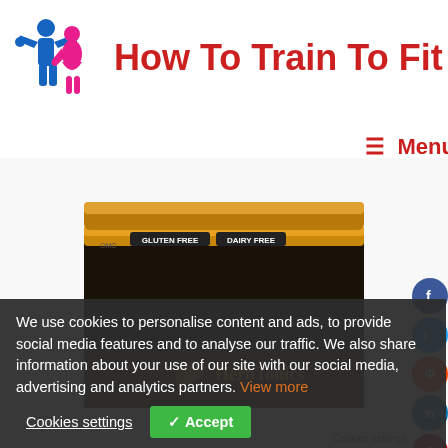[Figure (logo): How To Train To Fit website logo showing two figures, one blue male flexing and one pink female]
How To Train To Fit
≡ Menu
[Figure (photo): Product jar with gold/copper lid, labeled GLUTEN FREE DAIRY FREE, with HerbTonics branding visible at bottom]
We use cookies to personalise content and ads, to provide social media features and to analyse our traffic. We also share information about your use of our site with our social media, advertising and analytics partners. View more
Cookies settings   ✓ Accept
Cookies settings